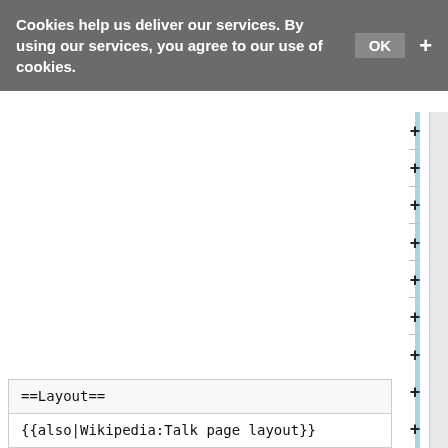Cookies help us deliver our services. By using our services, you agree to our use of cookies. OK +
[Figure (screenshot): Wikipedia page editor interface showing a white content area with a blue vertical sidebar bar, scrollbar, and plus (+) expand buttons for multiple collapsible sections]
==Layout==
{{also|Wikipedia:Talk page layout}}